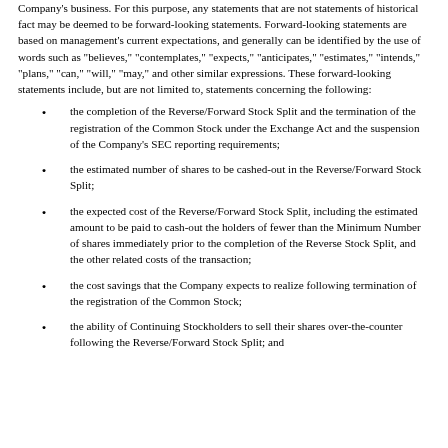Company's business. For this purpose, any statements that are not statements of historical fact may be deemed to be forward-looking statements. Forward-looking statements are based on management's current expectations, and generally can be identified by the use of words such as "believes," "contemplates," "expects," "anticipates," "estimates," "intends," "plans," "can," "will," "may," and other similar expressions. These forward-looking statements include, but are not limited to, statements concerning the following:
the completion of the Reverse/Forward Stock Split and the termination of the registration of the Common Stock under the Exchange Act and the suspension of the Company's SEC reporting requirements;
the estimated number of shares to be cashed-out in the Reverse/Forward Stock Split;
the expected cost of the Reverse/Forward Stock Split, including the estimated amount to be paid to cash-out the holders of fewer than the Minimum Number of shares immediately prior to the completion of the Reverse Stock Split, and the other related costs of the transaction;
the cost savings that the Company expects to realize following termination of the registration of the Common Stock;
the ability of Continuing Stockholders to sell their shares over-the-counter following the Reverse/Forward Stock Split; and